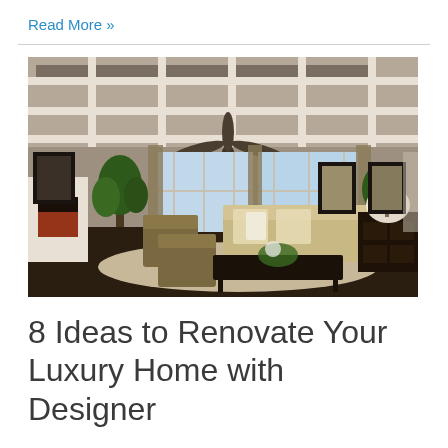Read More »
[Figure (photo): Luxury living room interior with coffered ceiling, ceiling fan, fireplace, elegant furniture including armchairs and sofa, indoor plants, and decorative artwork on walls with large windows in the background.]
8 Ideas to Renovate Your Luxury Home with Designer